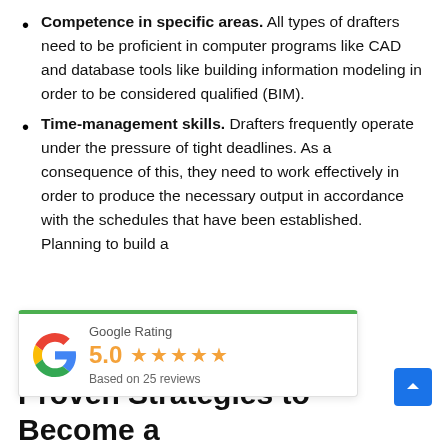Competence in specific areas. All types of drafters need to be proficient in computer programs like CAD and database tools like building information modeling in order to be considered qualified (BIM).
Time-management skills. Drafters frequently operate under the pressure of tight deadlines. As a consequence of this, they need to work effectively in order to produce the necessary output in accordance with the schedules that have been established. Planning to build a [on Group brings your] [ve!]
[Figure (other): Google Rating widget showing 5.0 stars based on 25 reviews, with a green top border and the Google 'G' logo.]
Proven Strategies to Become a